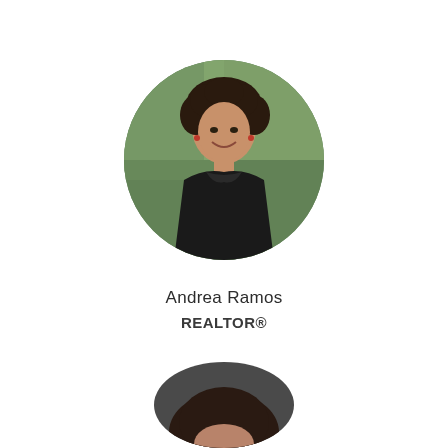[Figure (photo): Circular cropped headshot of Andrea Ramos, a woman with curly dark hair wearing a black sleeveless top, smiling, with green foliage in the background.]
Andrea Ramos
REALTOR®
[Figure (photo): Partial circular cropped headshot of a second person, partially visible at the bottom of the page, showing top of head with dark hair.]